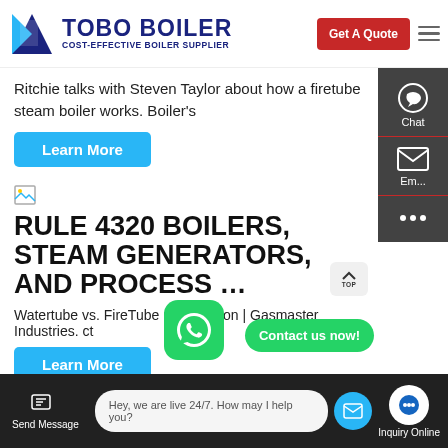[Figure (logo): TOBO BOILER logo with dark blue text and triangular icon, tagline: COST-EFFECTIVE BOILER SUPPLIER, red Get A Quote button]
Ritchie talks with Steven Taylor about how a firetube steam boiler works. Boiler's
Learn More
[Figure (other): Small article image placeholder icon]
RULE 4320 BOILERS, STEAM GENERATORS, AND PROCESS …
Watertube vs. FireTube Comparison | Gasmaster Industries. ct
Learn More
[Figure (screenshot): WhatsApp icon green rounded square button]
Contact us now!
Send Message | Hey, we are live 24/7. How may I help you? | Inquiry Online